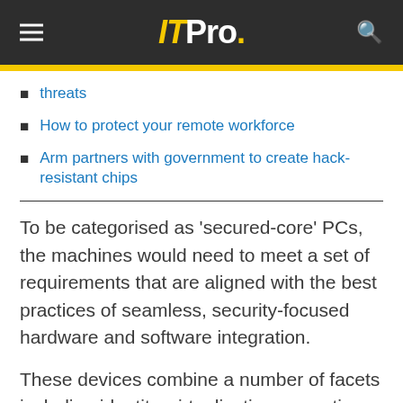ITPro.
threats
How to protect your remote workforce
Arm partners with government to create hack-resistant chips
To be categorised as 'secured-core' PCs, the machines would need to meet a set of requirements that are aligned with the best practices of seamless, security-focused hardware and software integration.
These devices combine a number of facets including identity, virtualisation, operating system (OS), hardware and firmware protection to add additional